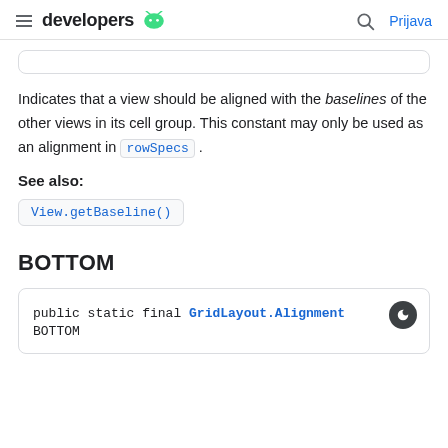developers | Prijava
Indicates that a view should be aligned with the baselines of the other views in its cell group. This constant may only be used as an alignment in rowSpecs .
See also:
View.getBaseline()
BOTTOM
public static final GridLayout.Alignment BOTTOM